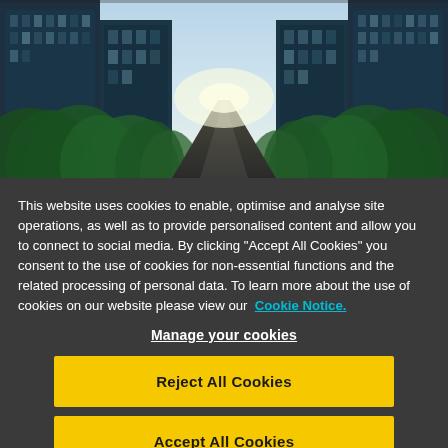[Figure (photo): Aerial view of a city street lined with lush green trees and tall glass skyscrapers on both sides, viewed from street level looking toward a bright vanishing point.]
This website uses cookies to enable, optimise and analyse site operations, as well as to provide personalised content and allow you to connect to social media. By clicking "Accept All Cookies" you consent to the use of cookies for non-essential functions and the related processing of personal data. To learn more about the use of cookies on our website please view our Cookie Notice.
Manage your cookies
Reject All Cookies
Accept All Cookies